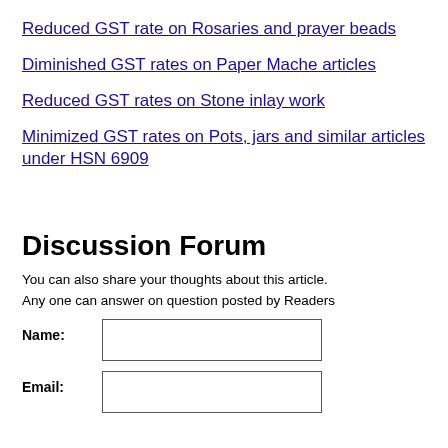Reduced GST rate on Rosaries and prayer beads
Diminished GST rates on Paper Mache articles
Reduced GST rates on Stone inlay work
Minimized GST rates on Pots, jars and similar articles under HSN 6909
Discussion Forum
You can also share your thoughts about this article.
Any one can answer on question posted by Readers
Name:
Email: